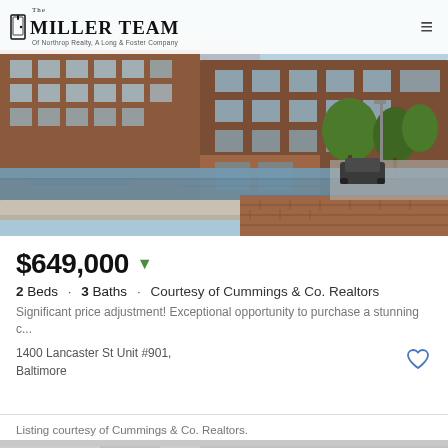The Miller Team - Of Northrop Realty, A Long & Foster Company
[Figure (photo): Exterior view of a red-brick multi-story condominium building beside a canal/waterway with trees and a brick walkway in Baltimore]
$649,000
2 Beds · 3 Baths · Courtesy of Cummings & Co. Realtors
Significant price adjustment! Exceptional opportunity to purchase a stunning c...
1400 Lancaster St Unit #901, Baltimore
Listing courtesy of Cummings & Co. Realtors.
[Figure (photo): Partial bottom strip showing interior of a building/room]